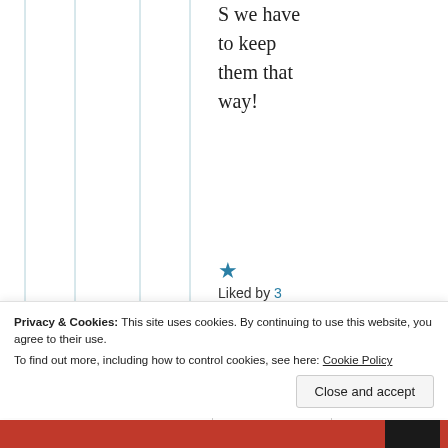S we have to keep them that way!
★ Liked by 3 people
↳ Reply
Privacy & Cookies: This site uses cookies. By continuing to use this website, you agree to their use.
To find out more, including how to control cookies, see here: Cookie Policy
Close and accept